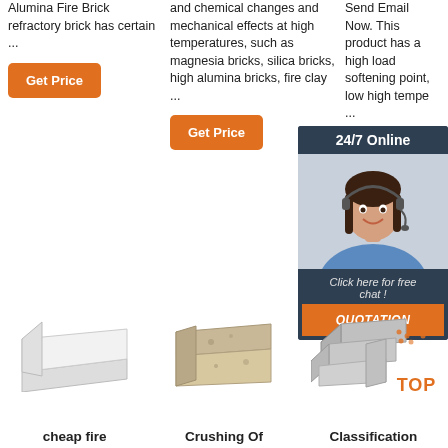Alumina Fire Brick refractory brick has certain ...
and chemical changes and mechanical effects at high temperatures, such as magnesia bricks, silica bricks, high alumina bricks, fire clay ...
Send Email Now. This product has a high load softening point, low high tempe... ...
Get Price
Get
Get Price
[Figure (infographic): 24/7 Online chat widget with a smiling female agent wearing a headset, 'Click here for free chat!' text and QUOTATION button]
[Figure (photo): White flat refractory brick]
[Figure (photo): Beige/tan refractory brick with texture]
[Figure (photo): Three grey refractory bricks with TOP badge overlay]
cheap fire
Crushing Of
Classification